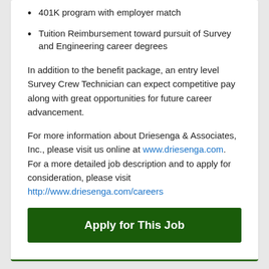401K program with employer match
Tuition Reimbursement toward pursuit of Survey and Engineering career degrees
In addition to the benefit package, an entry level Survey Crew Technician can expect competitive pay along with great opportunities for future career advancement.
For more information about Driesenga & Associates, Inc., please visit us online at www.driesenga.com. For a more detailed job description and to apply for consideration, please visit http://www.driesenga.com/careers
Apply for This Job